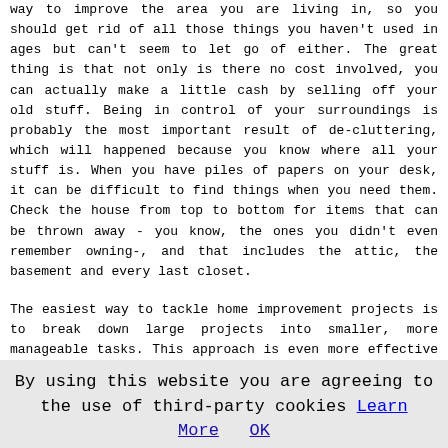way to improve the area you are living in, so you should get rid of all those things you haven't used in ages but can't seem to let go of either. The great thing is that not only is there no cost involved, you can actually make a little cash by selling off your old stuff. Being in control of your surroundings is probably the most important result of de-cluttering, which will happened because you know where all your stuff is. When you have piles of papers on your desk, it can be difficult to find things when you need them. Check the house from top to bottom for items that can be thrown away - you know, the ones you didn't even remember owning-, and that includes the attic, the basement and every last closet.
The easiest way to tackle home improvement projects is to break down large projects into smaller, more manageable tasks. This approach is even more effective if you don't have much time and can only do a few hours work on a weekly basis. Painting the house one room at a time is a much easier job than trying to do it all at once. The ideas provided in this article are just some methods you can use to make your home a better place to live.
By using this website you are agreeing to the use of third-party cookies  Learn More  OK